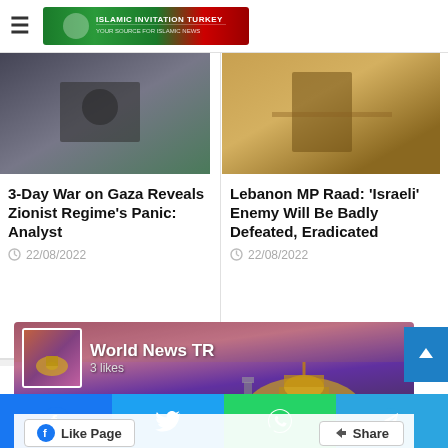Islamic Invitation Turkey
3-Day War on Gaza Reveals Zionist Regime's Panic: Analyst
22/08/2022
Lebanon MP Raad: 'Israeli' Enemy Will Be Badly Defeated, Eradicated
22/08/2022
Find us on Facebook
[Figure (screenshot): Facebook page widget for World News TR showing 3 likes, with Like Page and Share buttons, background shows Dome of the Rock at sunset]
Social media sharing buttons: Facebook, Twitter, WhatsApp, Telegram